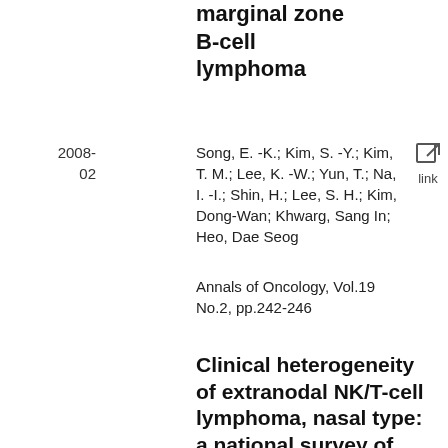marginal zone B-cell lymphoma
2008-02
Song, E. -K.; Kim, S. -Y.; Kim, T. M.; Lee, K. -W.; Yun, T.; Na, I. -I.; Shin, H.; Lee, S. H.; Kim, Dong-Wan; Khwarg, Sang In; Heo, Dae Seog
Annals of Oncology, Vol.19 No.2, pp.242-246
Clinical heterogeneity of extranodal NK/T-cell lymphoma, nasal type: a national survey of the Korean